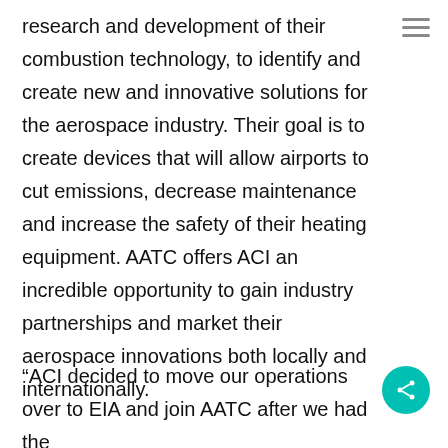research and development of their combustion technology, to identify and create new and innovative solutions for the aerospace industry. Their goal is to create devices that will allow airports to cut emissions, decrease maintenance and increase the safety of their heating equipment. AATC offers ACI an incredible opportunity to gain industry partnerships and market their aerospace innovations both locally and internationally.
“ACI decided to move our operations over to EIA and join AATC after we had the